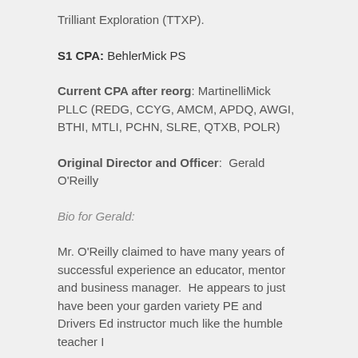Trilliant Exploration (TTXP).
S1 CPA: BehlerMick PS
Current CPA after reorg: MartinelliMick PLLC (REDG, CCYG, AMCM, APDQ, AWGI, BTHI, MTLI, PCHN, SLRE, QTXB, POLR)
Original Director and Officer:  Gerald O'Reilly
Bio for Gerald:
Mr. O'Reilly claimed to have many years of successful experience an educator, mentor and business manager.  He appears to just have been your garden variety PE and Drivers Ed instructor much like the humble teacher I